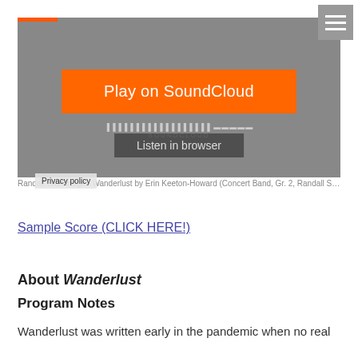[Figure (screenshot): SoundCloud embedded player with orange 'Play on SoundCloud' button, SoundCloud logo, 'Listen in browser' button, and Privacy policy label on grey background]
Randall Standridge · Wanderlust by Erin Keeton-Howard (Concert Band, Gr. 2, Randall St...
Sample Score (CLICK HERE!)
About Wanderlust
Program Notes
Wanderlust was written early in the pandemic when no real